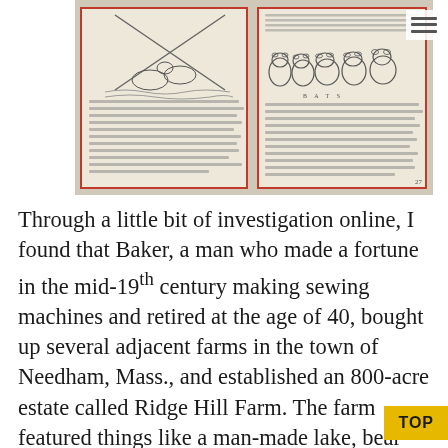[Figure (photo): Photograph of an open illustrated book showing two pages with pen-and-ink animal illustrations (left page shows a crossed-spears scene with animals, right page shows a row of bear-like animals) surrounded by red borders, with dense text below each illustration.]
Through a little bit of investigation online, I found that Baker, a man who made a fortune in the mid-19th century making sewing machines and retired at the age of 40, bought up several adjacent farms in the town of Needham, Mass., and established an 800-acre estate called Ridge Hill Farm. The farm featured things like a man-made lake, bear pits for exotic animals, extens gardens, and a 300+ room luxury hotel